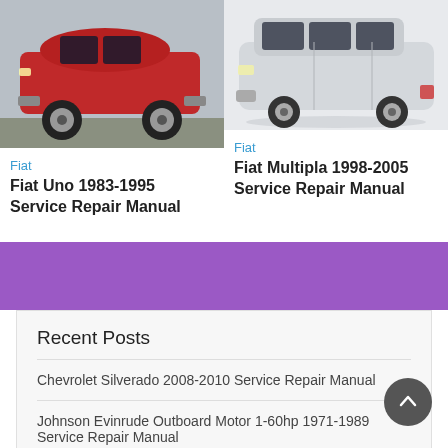[Figure (photo): Red Fiat Uno hatchback car, side profile view on pavement]
[Figure (photo): Silver Fiat Multipla MPV car, side profile view on white background]
Fiat
Fiat Uno 1983-1995 Service Repair Manual
Fiat
Fiat Multipla 1998-2005 Service Repair Manual
Recent Posts
Chevrolet Silverado 2008-2010 Service Repair Manual
Johnson Evinrude Outboard Motor 1-60hp 1971-1989 Service Repair Manual
My Agusta F4 1000 Engine Service Repair Manual